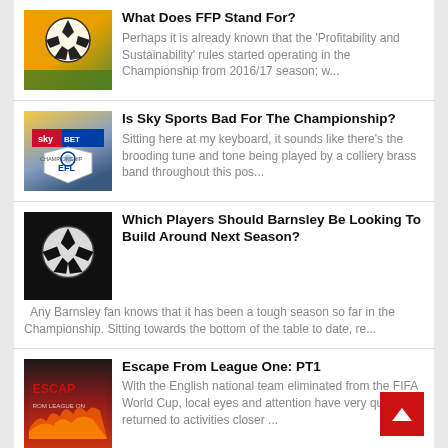[Figure (photo): Soccer ball on green field with sunset background]
What Does FFP Stand For?
Perhaps it is already known that the 'Profitability and Sustainability' rules started operating in the Championship from 2016/17 season; w...
[Figure (logo): Sky Bet Championship EFL logo]
Is Sky Sports Bad For The Championship?
Sitting here at my keyboard, it sounds like there's the brooding tune and tone being played by a colliery brass band throughout this pos...
[Figure (photo): Soccer ball in dark dramatic setting]
Which Players Should Barnsley Be Looking To Build Around Next Season?
Any Barnsley fan knows that it has been a tough season so far in the Championship. Sitting towards the bottom of the table to date, re...
[Figure (photo): Escape From League One graphic with fire]
Escape From League One: PT1
With the English national team eliminated from the FIFA World Cup, local eyes and attention have very quickly returned to activities closer ...